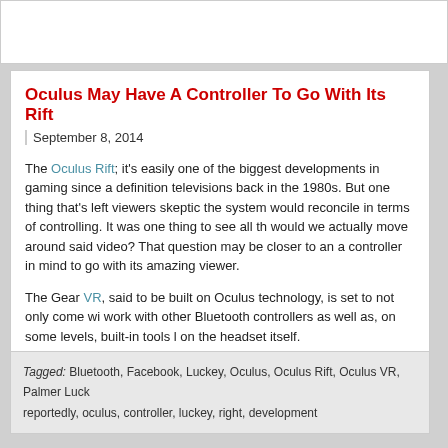Oculus May Have A Controller To Go With Its Rift
September 8, 2014
The Oculus Rift; it's easily one of the biggest developments in gaming since a definition televisions back in the 1980s. But one thing that's left viewers skeptic the system would reconcile in terms of controlling. It was one thing to see all th would we actually move around said video? That question may be closer to an a controller in mind to go with its amazing viewer.
The Gear VR, said to be built on Oculus technology, is set to not only come wi work with other Bluetooth controllers as well as, on some levels, built-in tools l on the headset itself.
Tagged: Bluetooth, Facebook, Luckey, Oculus, Oculus Rift, Oculus VR, Palmer Luck reportedly, oculus, controller, luckey, right, development